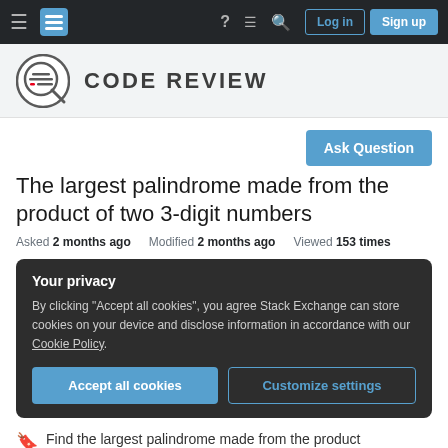Stack Exchange navigation bar with hamburger menu, logo, help, chat, search, Log in, Sign up
[Figure (logo): Code Review Stack Exchange site logo with circular magnifying glass icon and text CODE REVIEW]
Ask Question
The largest palindrome made from the product of two 3-digit numbers
Asked 2 months ago   Modified 2 months ago   Viewed 153 times
Your privacy
By clicking "Accept all cookies", you agree Stack Exchange can store cookies on your device and disclose information in accordance with our Cookie Policy.
Accept all cookies   Customize settings
Find the largest palindrome made from the product